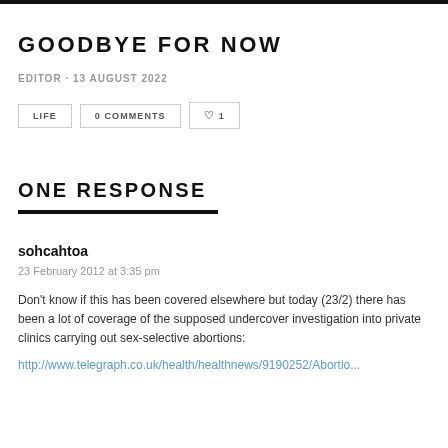GOODBYE FOR NOW
EDITOR · 13 AUGUST 2022
LIFE   0 COMMENTS   ♡ 1
ONE RESPONSE
sohcahtoa
23 February 2012 at 3:35 pm
Don't know if this has been covered elsewhere but today (23/2) there has been a lot of coverage of the supposed undercover investigation into private clinics carrying out sex-selective abortions:
http://www.telegraph.co.uk/health/healthnews/9190252/Abortio...